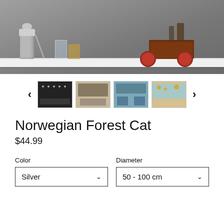[Figure (photo): Product lifestyle photo: bar/kitchen accessories including a silver cocktail shaker, glasses, and a red wagon bar cart on a white shelf against a grey background]
[Figure (photo): Thumbnail carousel with left/right navigation arrows and 4 product thumbnails showing different variants or room settings]
Norwegian Forest Cat
$44.99
Color
Silver
Diameter
50 - 100 cm